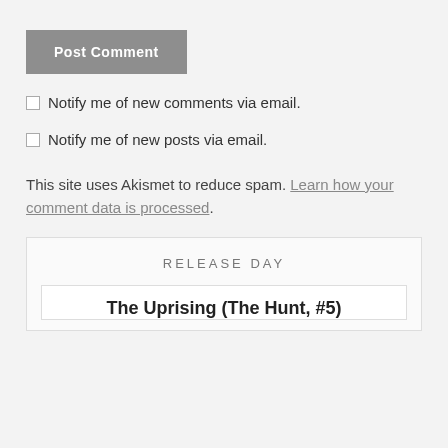Post Comment
Notify me of new comments via email.
Notify me of new posts via email.
This site uses Akismet to reduce spam. Learn how your comment data is processed.
RELEASE DAY
The Uprising (The Hunt, #5)